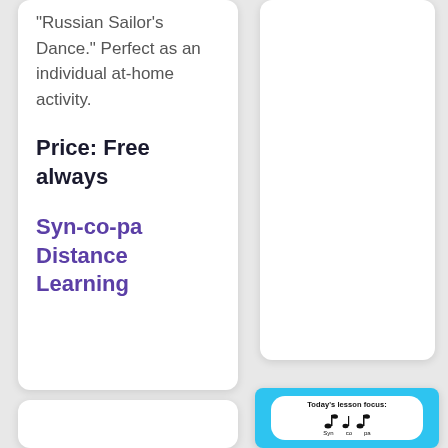“Russian Sailor’s Dance.” Perfect as an individual at-home activity.
Price: Free always
Syn-co-pa Distance Learning
[Figure (illustration): A lesson card with cyan/blue wavy border showing 'Today's lesson focus:' with music notes and syllables Syn co pa]